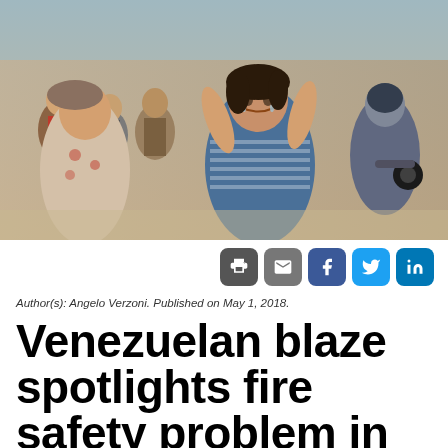[Figure (photo): A woman crying and holding her head in distress, surrounded by other people, outside what appears to be a Venezuelan prison. People are visible in the background including men and motorcyclists.]
Author(s): Angelo Verzoni. Published on May 1, 2018.
Venezuelan blaze spotlights fire safety problem in Latin American prisons